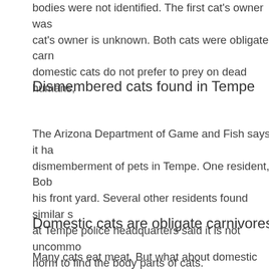bodies were not identified. The first cat's owner was cat's owner is unknown. Both cats were obligate carn domestic cats do not prefer to prey on dead humans,
Dismembered cats found in Tempe
The Arizona Department of Game and Fish says it ha dismemberment of pets in Tempe. One resident, Bob his front yard. Several other residents found similar s at Tempe police headquarters said it is not uncommo norm to find the body parts of cats.
Domestic cats are obligate carnivores
Many cats eat meat. But what about domestic cats? behind this distinction. In addition to meeting their nu